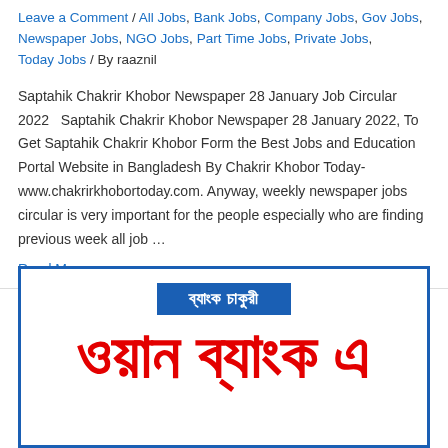Leave a Comment / All Jobs, Bank Jobs, Company Jobs, Gov Jobs, Newspaper Jobs, NGO Jobs, Part Time Jobs, Private Jobs, Today Jobs / By raaznil
Saptahik Chakrir Khobor Newspaper 28 January Job Circular 2022   Saptahik Chakrir Khobor Newspaper 28 January 2022, To Get Saptahik Chakrir Khobor Form the Best Jobs and Education Portal Website in Bangladesh By Chakrir Khobor Today- www.chakrirkhobortoday.com. Anyway, weekly newspaper jobs circular is very important for the people especially who are finding previous week all job …
Read More »
[Figure (infographic): Advertisement banner with blue border, blue header banner containing Bengali text 'ব্যাংক চাকুরী' (Bank Job) in white, and large red Bengali text 'ওয়ান ব্যাংক এ' below on white background.]